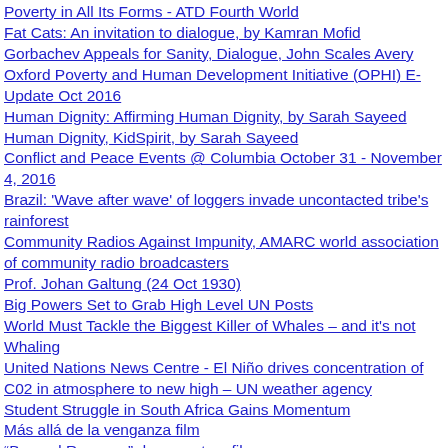Poverty in All Its Forms - ATD Fourth World
Fat Cats: An invitation to dialogue, by Kamran Mofid
Gorbachev Appeals for Sanity, Dialogue, John Scales Avery
Oxford Poverty and Human Development Initiative (OPHI) E-Update Oct 2016
Human Dignity: Affirming Human Dignity, by Sarah Sayeed
Human Dignity, KidSpirit, by Sarah Sayeed
Conflict and Peace Events @ Columbia October 31 - November 4, 2016
Brazil: 'Wave after wave' of loggers invade uncontacted tribe's rainforest
Community Radios Against Impunity, AMARC world association of community radio broadcasters
Prof. Johan Galtung (24 Oct 1930)
Big Powers Set to Grab High Level UN Posts
World Must Tackle the Biggest Killer of Whales – and it's not Whaling
United Nations News Centre - El Niño drives concentration of C02 in atmosphere to new high – UN weather agency
Student Struggle in South Africa Gains Momentum
Más allá de la venganza film
“Beyond Revenge” documentary film
United Nations News Centre - 'Wonder Woman' appointed UN honorary Ambassador for the Empowerment of Women and Girls
Q&A: Land Degradation Could Force 135 Million to Migrate in